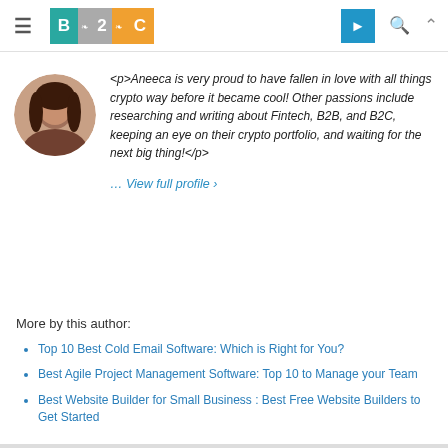[Figure (logo): B2C logo with teal B, gray puzzle/2, orange puzzle/C]
<p>Aneeca is very proud to have fallen in love with all things crypto way before it became cool! Other passions include researching and writing about Fintech, B2B, and B2C, keeping an eye on their crypto portfolio, and waiting for the next big thing!</p>
… View full profile ›
More by this author:
Top 10 Best Cold Email Software: Which is Right for You?
Best Agile Project Management Software: Top 10 to Manage your Team
Best Website Builder for Small Business : Best Free Website Builders to Get Started